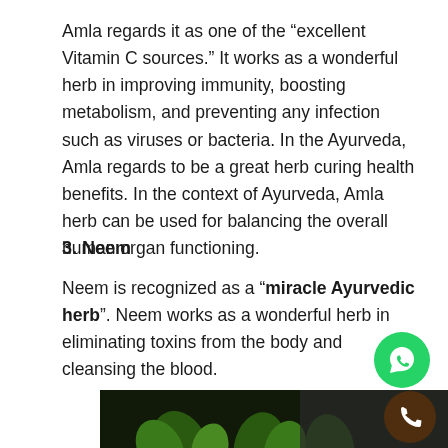Amla regards it as one of the “excellent Vitamin C sources.” It works as a wonderful herb in improving immunity, boosting metabolism, and preventing any infection such as viruses or bacteria. In the Ayurveda, Amla regards to be a great herb curing health benefits. In the context of Ayurveda, Amla herb can be used for balancing the overall human organ functioning.
3. Neem
Neem is recognized as a “miracle Ayurvedic herb”. Neem works as a wonderful herb in eliminating toxins from the body and cleansing the blood.
[Figure (photo): Photo of neem plant with green leaves against a dark background, partially visible at the bottom of the page.]